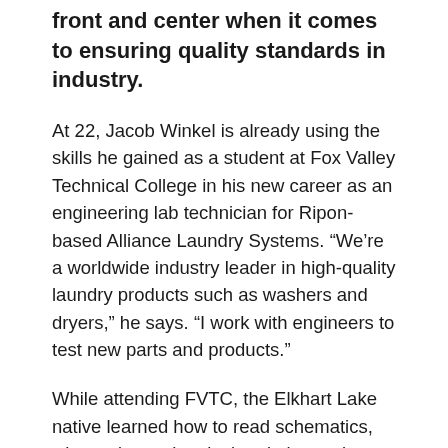front and center when it comes to ensuring quality standards in industry.
At 22, Jacob Winkel is already using the skills he gained as a student at Fox Valley Technical College in his new career as an engineering lab technician for Ripon-based Alliance Laundry Systems. “We’re a worldwide industry leader in high-quality laundry products such as washers and dryers,” he says. “I work with engineers to test new parts and products.”
While attending FVTC, the Elkhart Lake native learned how to read schematics, wire and test electrical and electronic circuits, design and program electronic and computer controls, and calibrate instruments. As president of the student-run Electronics Club, he also gained strong leadership and teamwork skills.